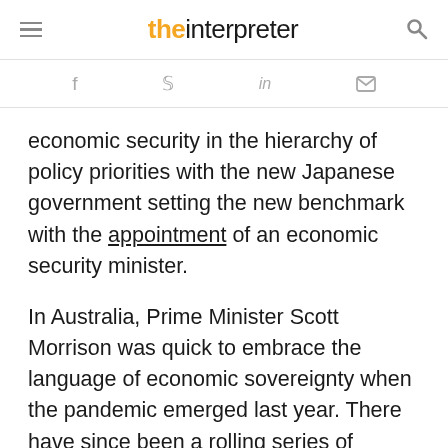the interpreter
economic security in the hierarchy of policy priorities with the new Japanese government setting the new benchmark with the appointment of an economic security minister.
In Australia, Prime Minister Scott Morrison was quick to embrace the language of economic sovereignty when the pandemic emerged last year. There have since been a rolling series of initiatives from manufacturing development subsidies to the new minilateral with India and Japan to build some sort of supply chain cooperation.